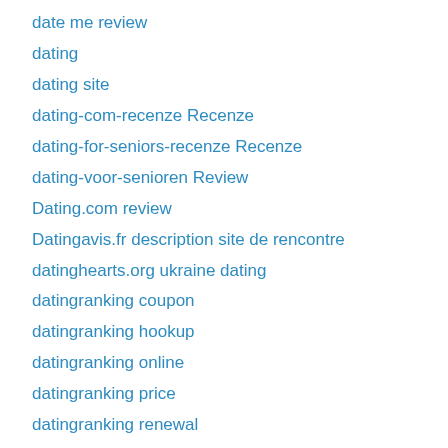date me review
dating
dating site
dating-com-recenze Recenze
dating-for-seniors-recenze Recenze
dating-voor-senioren Review
Dating.com review
Datingavis.fr description site de rencontre
datinghearts.org ukraine dating
datingranking coupon
datingranking hookup
datingranking online
datingranking price
datingranking renewal